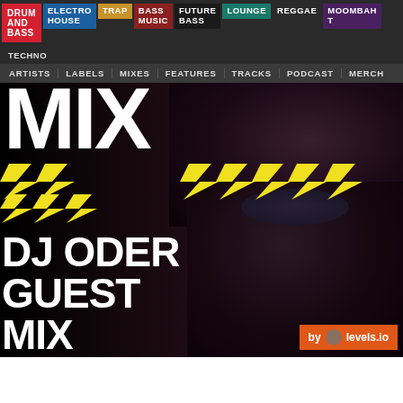DRUM AND BASS | ELECTRO HOUSE | TRAP | BASS MUSIC | FUTURE BASS | LOUNGE | REGGAE | MOOMBAHTON | TECHNO
ARTISTS  LABELS  MIXES  FEATURES  TRACKS  PODCAST  MERCH
MIX
[Figure (photo): DJ Oder performing, wearing a bucket hat and dark hoodie, with crowd/event lighting in background. Yellow lightning bolt graphics overlaid. Text overlay: DJ ODER GUEST MIX]
DJ ODER GUEST MIX
by levels.io